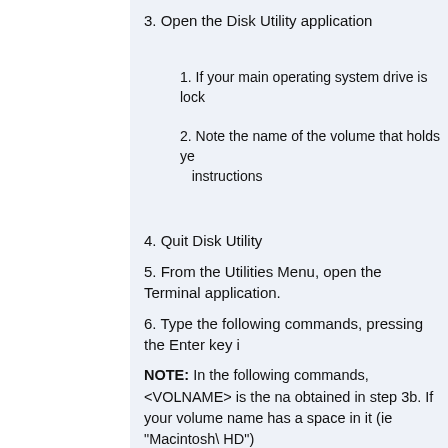3. Open the Disk Utility application
1. If your main operating system drive is lock
2. Note the name of the volume that holds ye instructions
4. Quit Disk Utility
5. From the Utilities Menu, open the Terminal application.
6. Type the following commands, pressing the Enter key i
NOTE: In the following commands, <VOLNAME> is the na obtained in step 3b. If your volume name has a space in it (ie "Macintosh\ HD")
rm -r /Volumes/<VOLNAME>/System/Library/Extensions/S
cp -rf /Volumes/<VOLNAME>/Library/Application\ Support